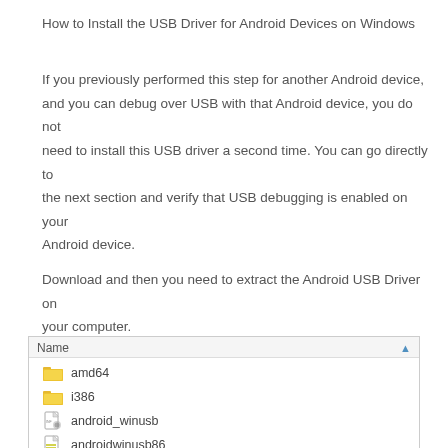How to Install the USB Driver for Android Devices on Windows
If you previously performed this step for another Android device, and you can debug over USB with that Android device, you do not need to install this USB driver a second time. You can go directly to the next section and verify that USB debugging is enabled on your Android device.
Download and then you need to extract the Android USB Driver on your computer.
[Figure (screenshot): Windows file explorer showing extracted Android USB Driver folder contents with entries: amd64 (folder), i386 (folder), android_winusb (file), androidwinusb86 (file), androidwinusba64 (file). Column header shows 'Name' with a sort arrow.]